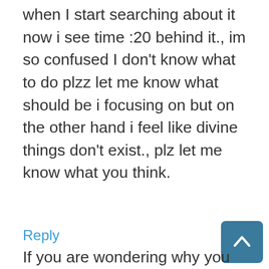when I start searching about it now i see time :20 behind it., im so confused I don't know what to do plzz let me know what should be i focusing on but on the other hand i feel like divine things don't exist., plz let me know what you think.
Reply
Greer says
March 2, 2021 at 11:27 am
If you are wondering why you